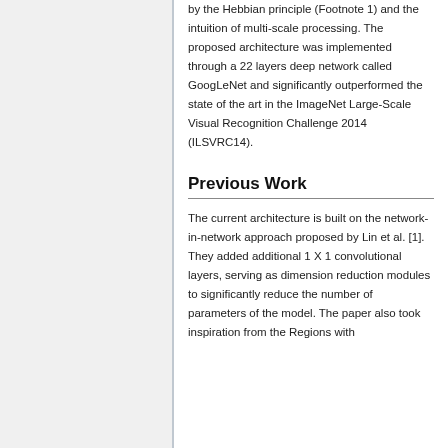by the Hebbian principle (Footnote 1) and the intuition of multi-scale processing. The proposed architecture was implemented through a 22 layers deep network called GoogLeNet and significantly outperformed the state of the art in the ImageNet Large-Scale Visual Recognition Challenge 2014 (ILSVRC14).
Previous Work
The current architecture is built on the network-in-network approach proposed by Lin et al. [1]. They added additional 1 X 1 convolutional layers, serving as dimension reduction modules to significantly reduce the number of parameters of the model. The paper also took inspiration from the Regions with